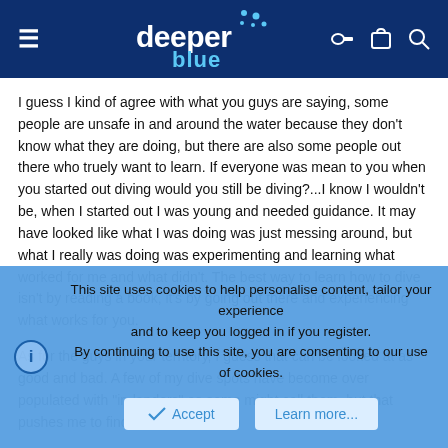deeper blue [logo with navigation icons]
I guess I kind of agree with what you guys are saying, some people are unsafe in and around the water because they don't know what they are doing, but there are also some people out there who truely want to learn. If everyone was mean to you when you started out diving would you still be diving?...I know I wouldn't be, when I started out I was young and needed guidance. It may have looked like what I was doing was just messing around, but what I really was doing was experimenting and learning what worked for me and what didn't. The best way to learn how to dive isn't by reading a book, it's by going out there and experiencing what works for you.
As for the guys in your territory, I guess that can be looked at as good and bad. A few of my dive spots have become over populated with "in-landers" as some might call them, but that pushes me to find new areas, which
This site uses cookies to help personalise content, tailor your experience and to keep you logged in if you register.
By continuing to use this site, you are consenting to our use of cookies.